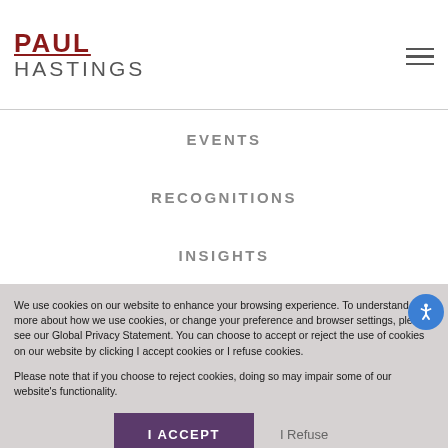[Figure (logo): Paul Hastings law firm logo with red PAUL text and gray HASTINGS text]
EVENTS
RECOGNITIONS
INSIGHTS
We use cookies on our website to enhance your browsing experience. To understand more about how we use cookies, or change your preference and browser settings, please see our Global Privacy Statement. You can choose to accept or reject the use of cookies on our website by clicking I accept cookies or I refuse cookies.

Please note that if you choose to reject cookies, doing so may impair some of our website's functionality.